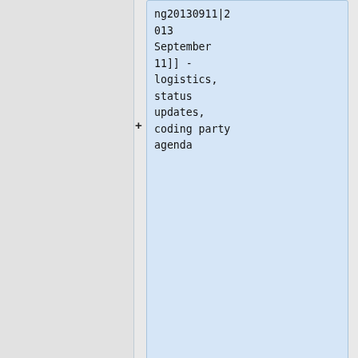ng20130911|2013 September 11]] - logistics, status updates, coding party agenda
=== 2012 ===
* [https://people.xiph.org/~giles/2012/daala_20121207.txt 2012-12-07]
* [https://people.xiph.org